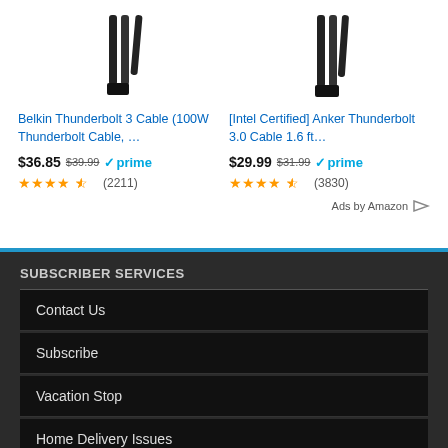[Figure (photo): Product image of Belkin Thunderbolt 3 Cable — black cables on white background]
Belkin Thunderbolt 3 Cable (100W Thunderbolt Cable, …
$36.85  $39.99  ✓prime
★★★★½ (2211)
[Figure (photo): Product image of Intel Certified Anker Thunderbolt 3.0 Cable — black cables on white background]
[Intel Certified] Anker Thunderbolt 3.0 Cable 1.6 ft…
$29.99  $31.99  ✓prime
★★★★½ (3830)
Ads by Amazon
SUBSCRIBER SERVICES
Contact Us
Subscribe
Vacation Stop
Home Delivery Issues
HELP / SUBMISSIONS